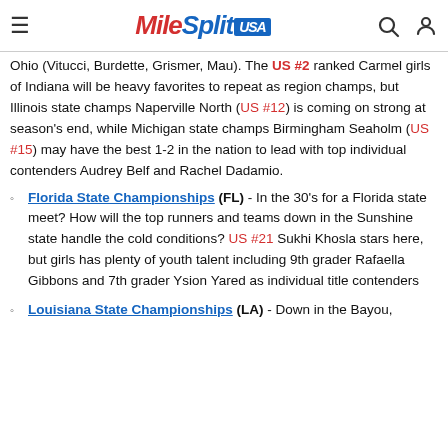MileSplit USA
Ohio (Vitucci, Burdette, Grismer, Mau). The US #2 ranked Carmel girls of Indiana will be heavy favorites to repeat as region champs, but Illinois state champs Naperville North (US #12) is coming on strong at season's end, while Michigan state champs Birmingham Seaholm (US #15) may have the best 1-2 in the nation to lead with top individual contenders Audrey Belf and Rachel Dadamio.
Florida State Championships (FL) - In the 30's for a Florida state meet? How will the top runners and teams down in the Sunshine state handle the cold conditions? US #21 Sukhi Khosla stars here, but girls has plenty of youth talent including 9th grader Rafaella Gibbons and 7th grader Ysion Yared as individual title contenders
Louisiana State Championships (LA) - Down in the Bayou,